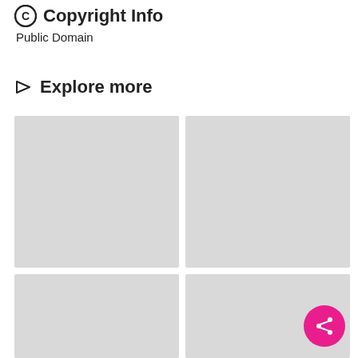Copyright Info
Public Domain
Explore more
[Figure (other): Four gray placeholder image tiles in a 2x2 grid layout, with a pink floating action share button in the bottom right corner.]